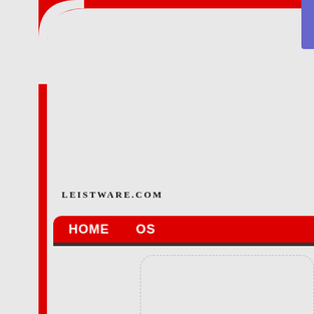[Figure (screenshot): Website screenshot of leistware.com showing a red border frame on the left and top, a navigation bar with HOME and OS menu items in red, a search input box with dashed border, a small white rectangle element, and partial text at the bottom.]
LEISTWARE.COM
HOME    OS
To find services running on a li